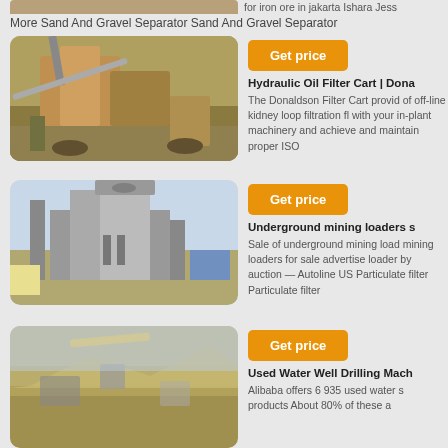[Figure (photo): Partially visible top image of mining/industrial equipment]
for iron ore in jakarta Ishara Jess
More Sand And Gravel Separator Sand And Gravel Separator
[Figure (photo): Aerial view of mining equipment/crusher in a quarry setting]
Get price
Hydraulic Oil Filter Cart | Dona
The Donaldson Filter Cart provides of off-line kidney loop filtration flu with your in-plant machinery and achieve and maintain proper ISO
[Figure (photo): Industrial processing plant or mine facility with tall structure]
Get price
Underground mining loaders s
Sale of underground mining load mining loaders for sale advertise loader by auction — Autoline US Particulate filter Particulate filter
[Figure (photo): Open-pit mining or quarry with equipment and dusty environment]
Get price
Used Water Well Drilling Mach
Alibaba offers 6 935 used water s products About 80% of these a